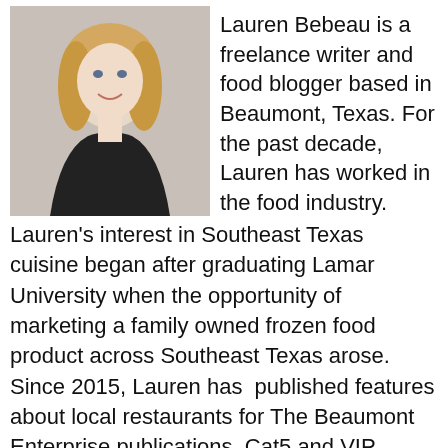[Figure (photo): Headshot of Lauren Bebeau, a woman with blonde hair wearing a black top, smiling]
Lauren Bebeau is a freelance writer and food blogger based in Beaumont, Texas. For the past decade, Lauren has worked in the food industry. Lauren's interest in Southeast Texas cuisine began after graduating Lamar University when the opportunity of marketing a family owned frozen food product across Southeast Texas arose. Since 2015, Lauren has published features about local restaurants for The Beaumont Enterprise publications, Cat5 and VIP Magazines in addition to her personal blog, SETXfoodies. Lauren is dedicated to showcasing what our area has to offer residents and tourists. Lauren frequently partners directly with